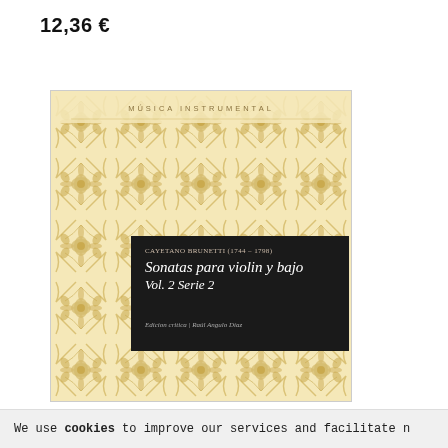12,36 €
[Figure (illustration): Book cover of 'Sonatas para violin y bajo Vol. 2 Serie 2' by Cayetano Brunetti (1744-1798), with gold damask ornamental pattern on cream background and a black overlay panel showing composer name, work title, and edition information. Series label 'Música Instrumental' at top.]
We use cookies to improve our services and facilitate n